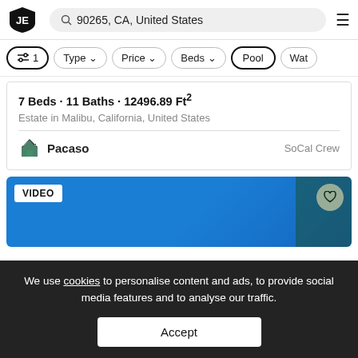JE  90265, CA, United States
Filters: 1 active | Type | Price | Beds | Pool | Wat...
7 Beds · 11 Baths · 12496.89 Ft²
Estate in Malibu, California, United States
[Figure (logo): Pacaso logo with green house icon. Agent: SoCal Crew]
[Figure (photo): Video listing card with blue background, VIDEO badge, heart button, tree image]
We use cookies to personalise content and ads, to provide social media features and to analyse our traffic.
Accept